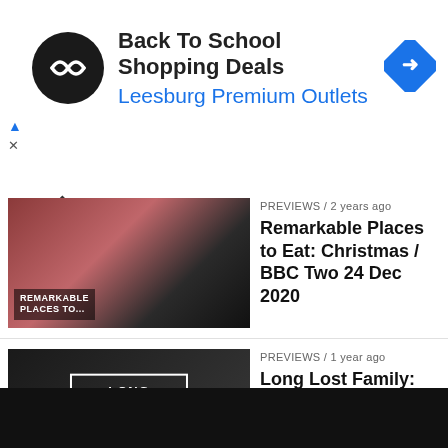[Figure (screenshot): Advertisement banner: Back To School Shopping Deals - Leesburg Premium Outlets with logo and navigation arrow icon]
[Figure (photo): Thumbnail for Remarkable Places to Eat Christmas BBC Two 24 Dec 2020]
PREVIEWS / 2 years ago
Remarkable Places to Eat: Christmas / BBC Two 24 Dec 2020
[Figure (photo): Thumbnail for Long Lost Family: What Happened Next Episode 1 ITV 9 Mar 2021]
PREVIEWS / 1 year ago
Long Lost Family: What Happened Next: Episode 1 / ITV 9 Mar 2021
[Figure (photo): Thumbnail for The World's Most Scenic Railway Journeys Cornwall's Most Scenic Railway Journeys Channel 5 11 Dec 2020]
PREVIEWS / 2 years ago
The World's Most Scenic Railway Journeys: Cornwall's Most Scenic Railway Journeys / Channel 5 11 Dec 2020